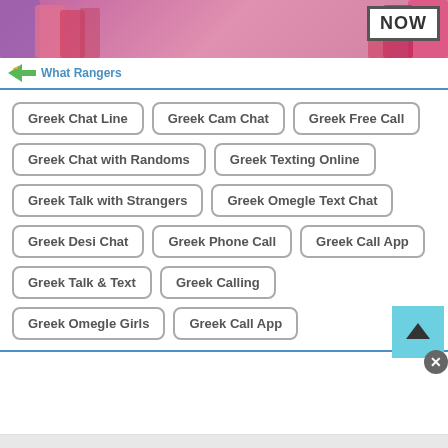[Figure (photo): Top banner advertisement with lipsticks/makeup products on sides, NOW button box on right]
What Rangers
Greek Chat Line
Greek Cam Chat
Greek Free Call
Greek Chat with Randoms
Greek Texting Online
Greek Talk with Strangers
Greek Omegle Text Chat
Greek Desi Chat
Greek Phone Call
Greek Call App
Greek Talk & Text
Greek Calling
Greek Omegle Girls
Greek Call App